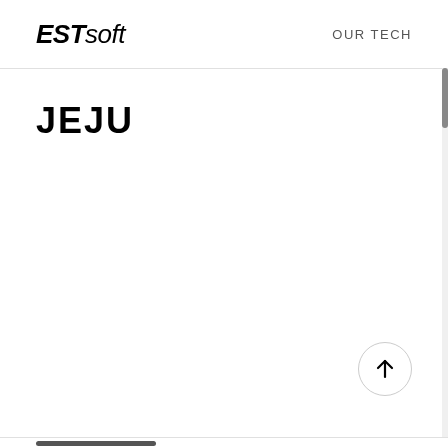ESTsoft  OUR TECH
JEJU
[Figure (illustration): Scroll-to-top button: a circle with an upward arrow inside]